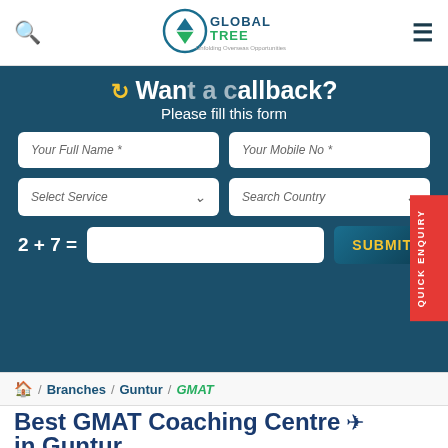Global Tree — Search | Logo | Menu
[Figure (screenshot): Callback form with fields: Your Full Name, Your Mobile No, Select Service (dropdown), Search Country (dropdown), captcha 2+7=, and SUBMIT button. Background is dark teal.]
[Figure (other): Quick Enquiry red vertical tab on the right side]
🏠 / Branches / Guntur / GMAT
Best GMAT Coaching Centre in Guntur
GMAT- Graduate Management Admission Test is an entrance exam for business and management schools. This test is designed to assess the writing,